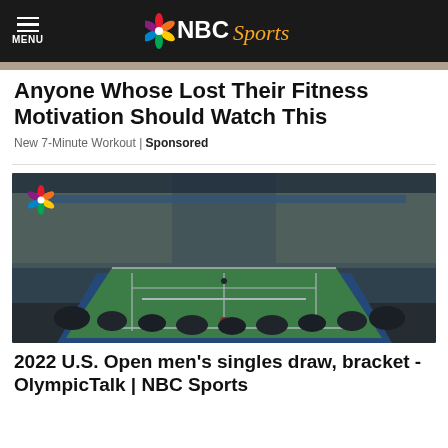MENU | NBC Sports
Anyone Whose Lost Their Fitness Motivation Should Watch This
New 7-Minute Workout | Sponsored
[Figure (photo): Aerial view of a packed tennis stadium with a blue hardcourt, NBC Sports peacock logo overlay in top-left. US Open venue with crowd filling the stands.]
2022 U.S. Open men's singles draw, bracket - OlympicTalk | NBC Sports